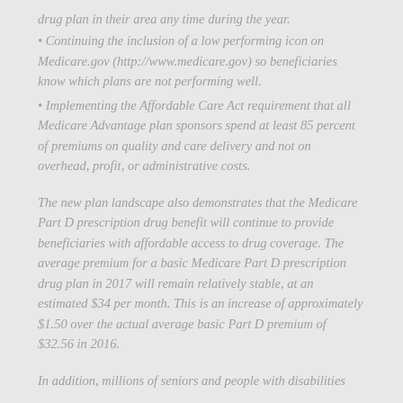• Continuing the inclusion of a low performing icon on Medicare.gov (http://www.medicare.gov) so beneficiaries know which plans are not performing well.
• Implementing the Affordable Care Act requirement that all Medicare Advantage plan sponsors spend at least 85 percent of premiums on quality and care delivery and not on overhead, profit, or administrative costs.
The new plan landscape also demonstrates that the Medicare Part D prescription drug benefit will continue to provide beneficiaries with affordable access to drug coverage. The average premium for a basic Medicare Part D prescription drug plan in 2017 will remain relatively stable, at an estimated $34 per month. This is an increase of approximately $1.50 over the actual average basic Part D premium of $32.56 in 2016.
In addition, millions of seniors and people with disabilities